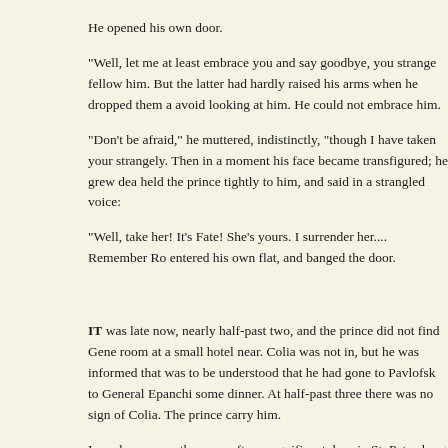He opened his own door.
"Well, let me at least embrace you and say goodbye, you strange fellow him. But the latter had hardly raised his arms when he dropped them a avoid looking at him. He could not embrace him.
"Don't be afraid," he muttered, indistinctly, "though I have taken your strangely. Then in a moment his face became transfigured; he grew dea held the prince tightly to him, and said in a strangled voice:
"Well, take her! It's Fate! She's yours. I surrender her.... Remember Ro entered his own flat, and banged the door.
IT was late now, nearly half-past two, and the prince did not find Gene room at a small hotel near. Colia was not in, but he was informed that was to be understood that he had gone to Pavlofsk to General Epanchi some dinner. At half-past three there was no sign of Colia. The prince carry him.
In early summer there are often magnificent days in St. Petersburg—b
For some time the prince wandered about without aim or object. He di He entered a confectioner's shop to rest, once. He was in a state of ner for solitude, to be alone with his thoughts and his emotions and to sit